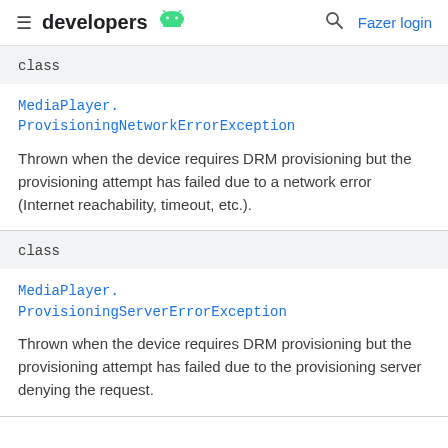developers
class
MediaPlayer.ProvisioningNetworkErrorException
Thrown when the device requires DRM provisioning but the provisioning attempt has failed due to a network error (Internet reachability, timeout, etc.).
class
MediaPlayer.ProvisioningServerErrorException
Thrown when the device requires DRM provisioning but the provisioning attempt has failed due to the provisioning server denying the request.